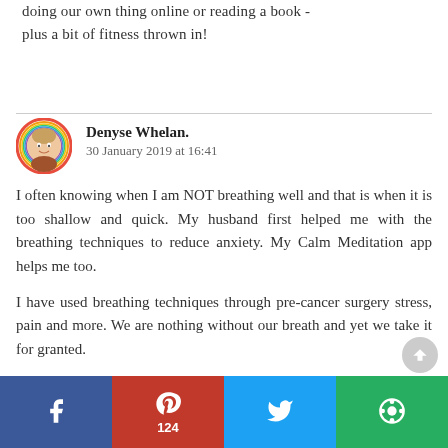doing our own thing online or reading a book - plus a bit of fitness thrown in!
Denyse Whelan.
30 January 2019 at 16:41

I often knowing when I am NOT breathing well and that is when it is too shallow and quick. My husband first helped me with the breathing techniques to reduce anxiety. My Calm Meditation app helps me too.

I have used breathing techniques through pre-cancer surgery stress, pain and more. We are nothing without our breath and yet we take it for granted.

Thank you for linking up for #lifethisweek. Next week
f   P 124   (twitter icon)   (share icon)